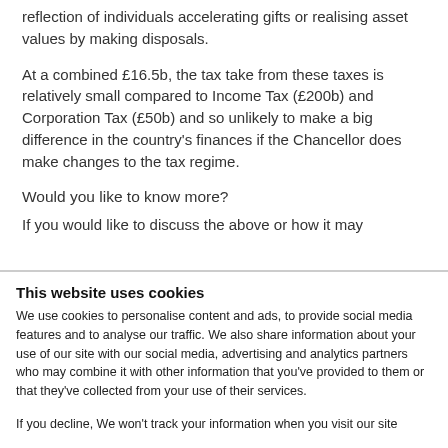reflection of individuals accelerating gifts or realising asset values by making disposals.
At a combined £16.5b, the tax take from these taxes is relatively small compared to Income Tax (£200b) and Corporation Tax (£50b) and so unlikely to make a big difference in the country's finances if the Chancellor does make changes to the tax regime.
Would you like to know more?
If you would like to discuss the above or how it may affect you, please get in touch with one of our Blink...
This website uses cookies
We use cookies to personalise content and ads, to provide social media features and to analyse our traffic. We also share information about your use of our site with our social media, advertising and analytics partners who may combine it with other information that you've provided to them or that they've collected from your use of their services.
If you decline, We won't track your information when you visit our site